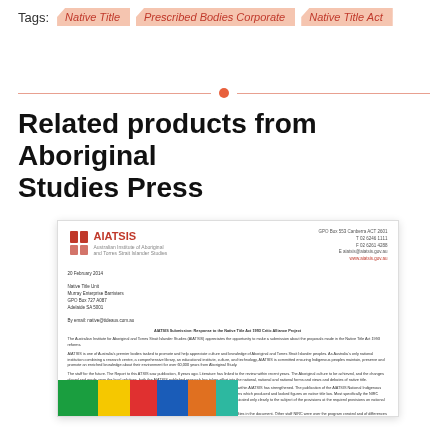Tags: Native Title  Prescribed Bodies Corporate  Native Title Act
Related products from Aboriginal Studies Press
[Figure (photo): Blurred AIATSIS letterhead document with logo and body text, with a colorful Aboriginal art-inspired bar at the bottom]